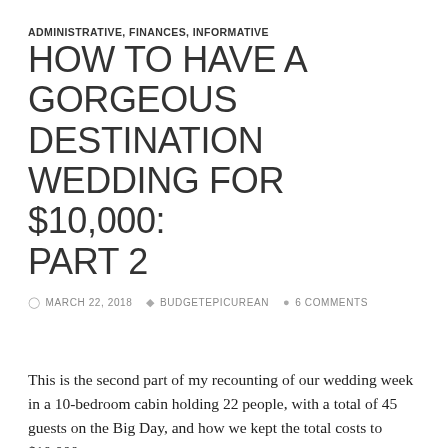ADMINISTRATIVE, FINANCES, INFORMATIVE
HOW TO HAVE A GORGEOUS DESTINATION WEDDING FOR $10,000: PART 2
MARCH 22, 2018  BUDGETEPICUREAN  6 COMMENTS
This is the second part of my recounting of our wedding week in a 10-bedroom cabin holding 22 people, with a total of 45 guests on the Big Day, and how we kept the total costs to $10,000.
Go back and read Part 1 for the deets on The Dress, how we found the right place in Pigeon Forge, Tennessee, and why we decided to do it our way rather than the standard Wedding